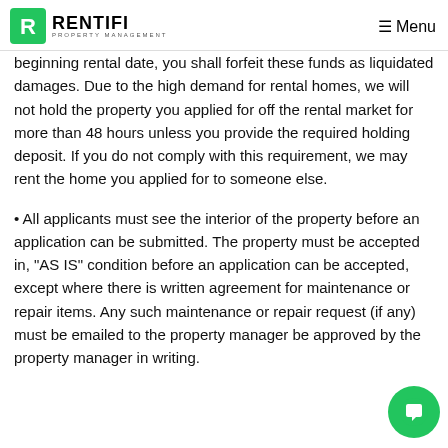RENTIFI PROPERTY MANAGEMENT | Menu
beginning rental date, you shall forfeit these funds as liquidated damages. Due to the high demand for rental homes, we will not hold the property you applied for off the rental market for more than 48 hours unless you provide the required holding deposit. If you do not comply with this requirement, we may rent the home you applied for to someone else.
All applicants must see the interior of the property before an application can be submitted. The property must be accepted in, "AS IS" condition before an application can be accepted, except where there is written agreement for maintenance or repair items. Any such maintenance or repair request (if any) must be emailed to the property manager be approved by the property manager in writing.